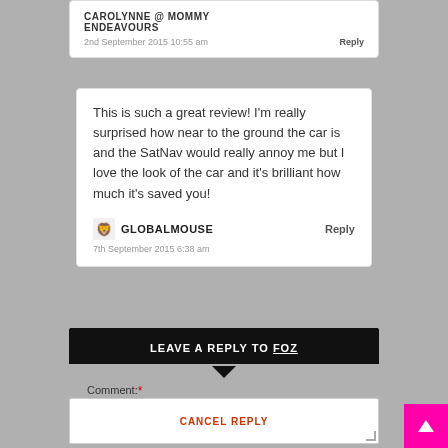CAROLYNNE @ MOMMY ENDEAVOURS
2nd September 2015 10:55 am   Reply
This is such a great review! I’m really surprised how near to the ground the car is and the SatNav would really annoy me but I love the look of the car and it’s brilliant how much it’s saved you!
GLOBALMOUSE   Reply
7th September 2015 6:38 am
LEAVE A REPLY TO FOZ
Comment: *
CANCEL REPLY